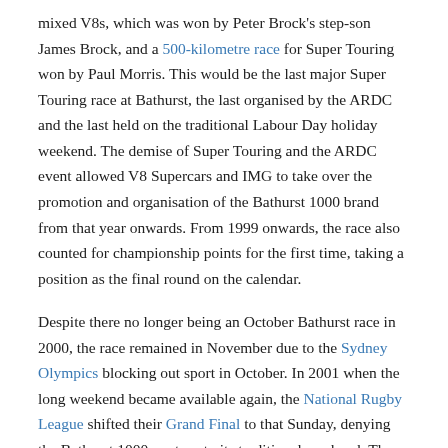mixed V8s, which was won by Peter Brock's step-son James Brock, and a 500-kilometre race for Super Touring won by Paul Morris. This would be the last major Super Touring race at Bathurst, the last organised by the ARDC and the last held on the traditional Labour Day holiday weekend. The demise of Super Touring and the ARDC event allowed V8 Supercars and IMG to take over the promotion and organisation of the Bathurst 1000 brand from that year onwards. From 1999 onwards, the race also counted for championship points for the first time, taking a position as the final round on the calendar.
Despite there no longer being an October Bathurst race in 2000, the race remained in November due to the Sydney Olympics blocking out sport in October. In 2001 when the long weekend became available again, the National Rugby League shifted their Grand Final to that Sunday, denying the Bathurst 1000 a return to its traditional weekend. The race instead moved to the weekend after the long weekend from 2001 onwards, and to an earlier spot in the championship calendar. The start of this new era was dominated by Holden, who won every Bathurst 1000 from 1999 to 2005.